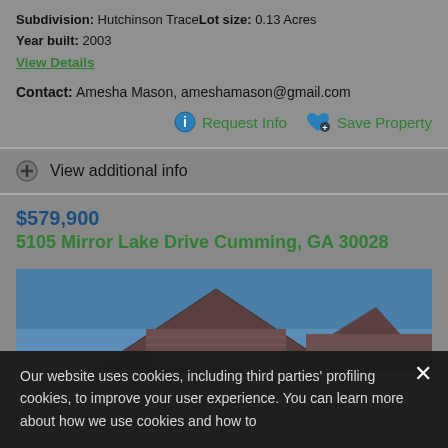Subdivision: Hutchinson Trace Lot size: 0.13 Acres
Year built: 2003
View Details
Contact: Amesha Mason, ameshamason@gmail.com
Request Info
Save Property
View additional info
$579,900
5105 Mirror Lake Drive Cumming, GA 30028
[Figure (photo): Exterior photo of a house showing roof gables against a blue sky]
Our website uses cookies, including third parties' profiling cookies, to improve your user experience. You can learn more about how we use cookies and how to